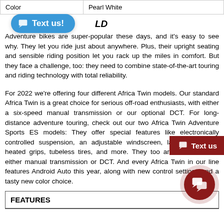| Color | Pearl White |
| --- | --- |
LD
Adventure bikes are super-popular these days, and it's easy to see why. They let you ride just about anywhere. Plus, their upright seating and sensible riding position let you rack up the miles in comfort. But they face a challenge, too: they need to combine state-of-the-art touring and riding technology with total reliability.
For 2022 we're offering four different Africa Twin models. Our standard Africa Twin is a great choice for serious off-road enthusiasts, with either a six-speed manual transmission or our optional DCT. For long-distance adventure touring, check out our two Africa Twin Adventure Sports ES models: They offer special features like electronically controlled suspension, an adjustable windscreen, larger fuel tank, heated grips, tubeless tires, and more. They too are available with either manual transmission or DCT. And every Africa Twin in our line features Android Auto this year, along with new control settings and a tasty new color choice.
| FEATURES |
| --- |